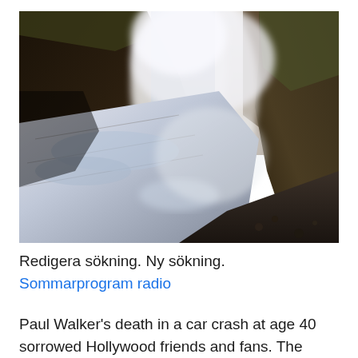[Figure (photo): A dramatic landscape photograph of a powerful waterfall rushing through a rocky canyon. Steam and mist rise from the rushing water. Dark rocky cliffs frame both sides. The sky is pale and light in the background.]
Redigera sökning. Ny sökning.
Sommarprogram radio
Paul Walker's death in a car crash at age 40 sorrowed Hollywood friends and fans. The actor,